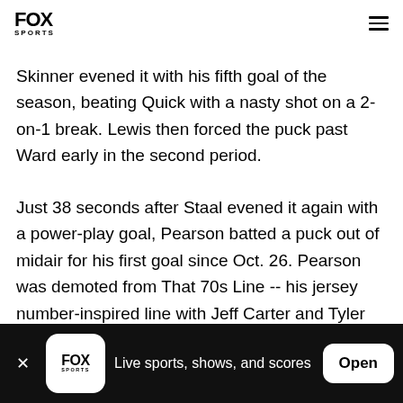FOX SPORTS
Skinner evened it with his fifth goal of the season, beating Quick with a nasty shot on a 2-on-1 break. Lewis then forced the puck past Ward early in the second period.
Just 38 seconds after Staal evened it again with a power-play goal, Pearson batted a puck out of midair for his first goal since Oct. 26. Pearson was demoted from That 70s Line -- his jersey number-inspired line with Jeff Carter and Tyler Toffoli -- due to Sutter's
FOX SPORTS — Live sports, shows, and scores — Open